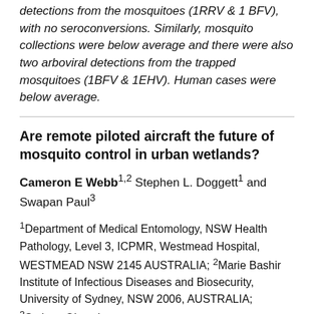detections from the mosquitoes (1RRV & 1 BFV), with no seroconversions. Similarly, mosquito collections were below average and there were also two arboviral detections from the trapped mosquitoes (1BFV & 1EHV). Human cases were below average.
Are remote piloted aircraft the future of mosquito control in urban wetlands?
Cameron E Webb1,2 Stephen L. Doggett1 and Swapan Paul3
1Department of Medical Entomology, NSW Health Pathology, Level 3, ICPMR, Westmead Hospital, WESTMEAD NSW 2145 AUSTRALIA; 2Marie Bashir Institute of Infectious Diseases and Biosecurity, University of Sydney, NSW 2006, AUSTRALIA; 3Sydney Olympic